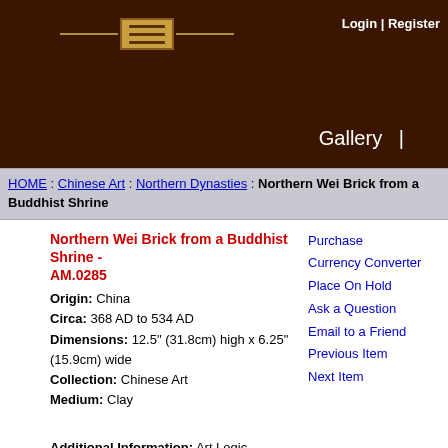[Figure (logo): Website header with dark brown background, decorative logo element with horizontal lines and a box in the center, Login | Register link top right, Gallery label bottom right]
Login | Register
HOME : Chinese Art : Northern Dynasties : Northern Wei Brick from a Buddhist Shrine
Northern Wei Brick from a Buddhist Shrine - AM.0285
Origin: China
Circa: 368 AD to 534 AD
Dimensions: 12.5" (31.8cm) high x 6.25" (15.9cm) wide
Collection: Chinese Art
Medium: Clay
Purchase
Currency Converter
Place On Hold
Ask a Question
Email to a Friend
Previous Item
Next Item
Additional Information: Art Logic—Possibly from CJ Martin, 2007
Location: Great Britain